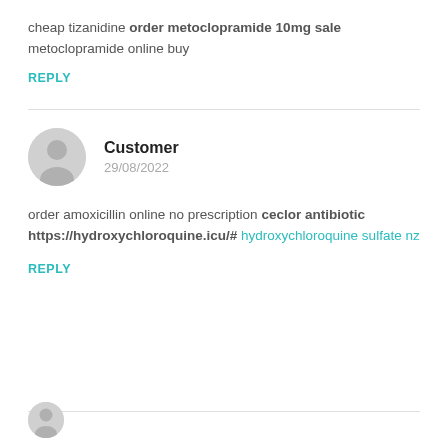cheap tizanidine order metoclopramide 10mg sale metoclopramide online buy
REPLY
Customer
29/08/2022
order amoxicillin online no prescription ceclor antibiotic https://hydroxychloroquine.icu/# hydroxychloroquine sulfate nz
REPLY